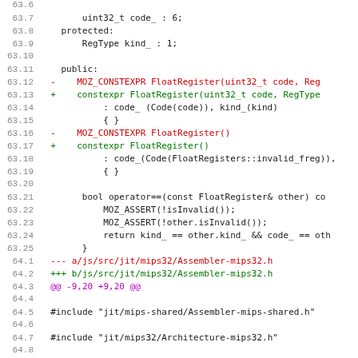Code diff showing changes to FloatRegister and Assembler-mips32.h files
63.6
63.7  uint32_t code_ : 6;
63.8  protected:
63.9  RegType kind_ : 1;
63.10
63.11 public:
63.12 - MOZ_CONSTEXPR FloatRegister(uint32_t code, Reg...
63.13 + constexpr FloatRegister(uint32_t code, RegType...
63.14 : code_ (Code(code)), kind_(kind)
63.15 { }
63.16 - MOZ_CONSTEXPR FloatRegister()
63.17 + constexpr FloatRegister()
63.18 : code_(Code(FloatRegisters::invalid_freg)),
63.19 { }
63.20
63.21 bool operator==(const FloatRegister& other) co...
63.22 MOZ_ASSERT(!isInvalid());
63.23 MOZ_ASSERT(!other.isInvalid());
63.24 return kind_ == other.kind_ && code_ == oth...
63.25 }
64.1 --- a/js/src/jit/mips32/Assembler-mips32.h
64.2 +++ b/js/src/jit/mips32/Assembler-mips32.h
64.3 @@ -9,20 +9,20 @@
64.4
64.5 #include "jit/mips-shared/Assembler-mips-shared.h"
64.6
64.7 #include "jit/mips32/Architecture-mips32.h"
64.8
64.9 namespace js {
64.10 namespace jit {
64.11
64.12 -static MOZ_CONSTEXPR VAR Register CallTempReq4 = t...